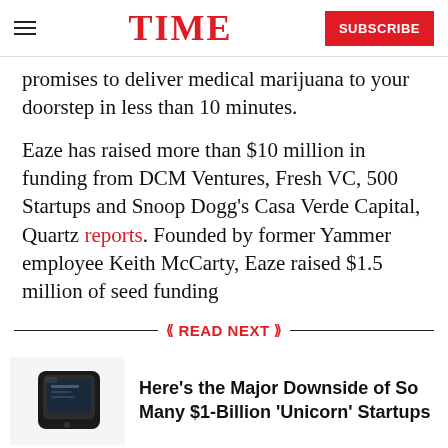TIME | SUBSCRIBE
promises to deliver medical marijuana to your doorstep in less than 10 minutes.
Eaze has raised more than $10 million in funding from DCM Ventures, Fresh VC, 500 Startups and Snoop Dogg’s Casa Verde Capital, Quartz reports. Founded by former Yammer employee Keith McCarty, Eaze raised $1.5 million of seed funding
READ NEXT
[Figure (photo): Black portable external battery/device on white background]
Here’s the Major Downside of So Many $1-Billion 'Unicorn' Startups